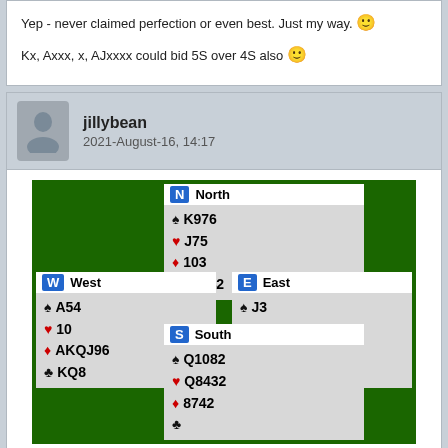Yep - never claimed perfection or even best. Just my way. 🙂

Kx, Axxx, x, AJxxxx could bid 5S over 4S also 🙂
jillybean
2021-August-16, 14:17
[Figure (other): Bridge card game diagram showing four hands: North (K976, J75, 103, J1042), West (A54, 10, AKQJ96, KQ8), East (J3, AK96, 5, A97653), South (Q1082, Q8432, 8742, -)]